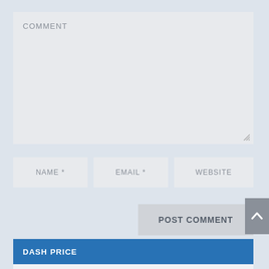[Figure (screenshot): Comment textarea form field with placeholder text 'COMMENT' and resize handle at bottom right]
[Figure (screenshot): Three input fields in a row: NAME *, EMAIL *, WEBSITE]
[Figure (screenshot): POST COMMENT submit button]
[Figure (screenshot): Scroll to top button with up caret]
DASH PRICE